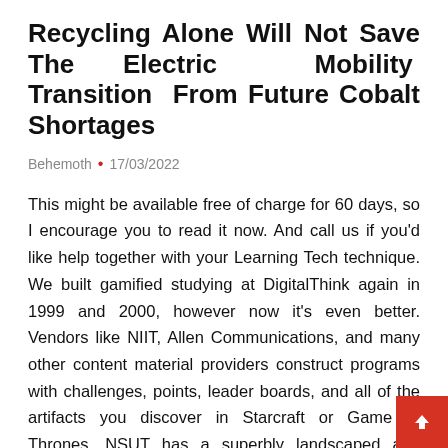Recycling Alone Will Not Save The Electric Mobility Transition From Future Cobalt Shortages
Behemoth • 17/03/2022
This might be available free of charge for 60 days, so I encourage you to read it now. And call us if you'd like help together with your Learning Tech technique. We built gamified studying at DigitalThink again in 1999 and 2000, however now it's even better. Vendors like NIIT, Allen Communications, and many other content material providers construct programs with challenges, points, leader boards, and all of the artifacts you discover in Starcraft or Game of Thrones. NSUT has a superbly landscaped and totally residential campus, sprawling 145 acres of land. A distinguished function of NSUT's campus is the vast expanse of flora & fauna that envelopes its entirety.